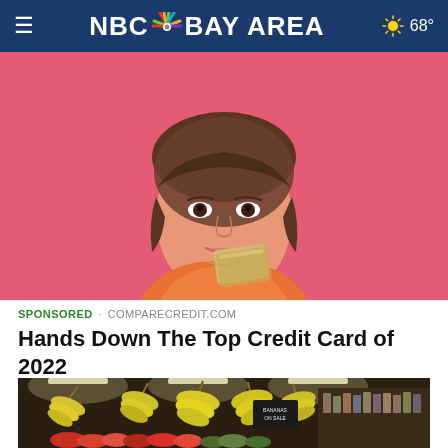NBC Bay Area  68°
[Figure (photo): Young woman with brown hair holding up a gold/beige credit card against a pink background, smiling at the camera]
SPONSORED · COMPARECREDIT.COM
Hands Down The Top Credit Card of 2022
[Figure (photo): Interior of a grocery store produce section showing bunches of bananas hanging from display racks with other fruits and vegetables below, store shelving in background]